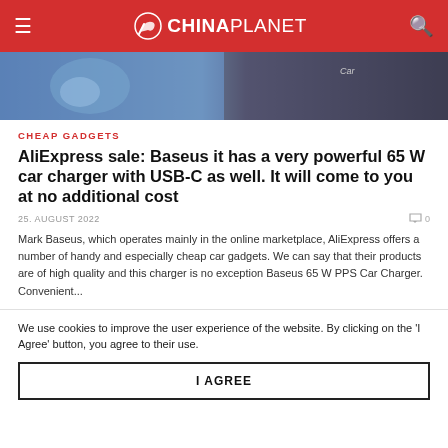CHINAPLANET
[Figure (photo): Hero image showing car charger product with blue/dark tones and 'Car' label visible]
CHEAP GADGETS
AliExpress sale: Baseus it has a very powerful 65 W car charger with USB-C as well. It will come to you at no additional cost
25. AUGUST 2022
Mark Baseus, which operates mainly in the online marketplace, AliExpress offers a number of handy and especially cheap car gadgets. We can say that their products are of high quality and this charger is no exception Baseus 65 W PPS Car Charger. Convenient...
We use cookies to improve the user experience of the website. By clicking on the 'I Agree' button, you agree to their use.
I AGREE